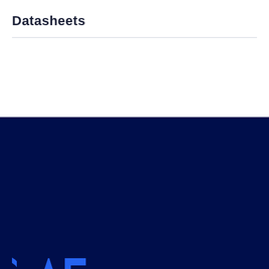Datasheets
[Figure (logo): CAE company logo in blue on dark navy background]
About CAE
Civil Aviation
Defense & Security